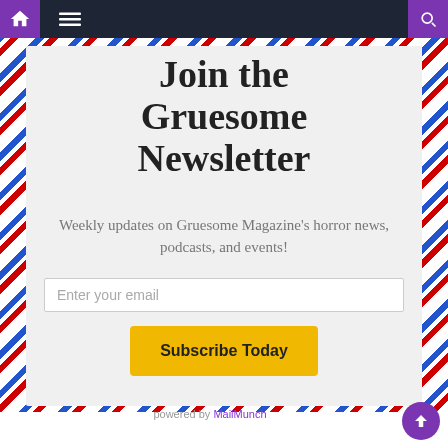Navigation bar with home icon, menu icon, and search icon
Join the Gruesome Newsletter
Weekly updates on Gruesome Magazine's horror news, podcasts, and events!
Enter your email
Subscribe Today
powered by MailMunch